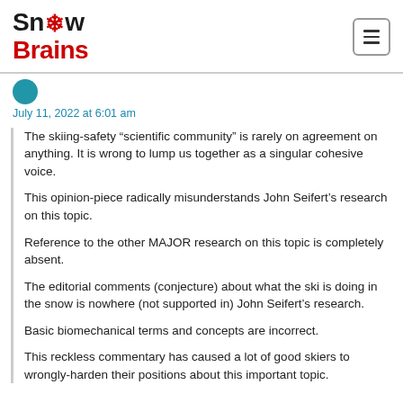SnowBrains
July 11, 2022 at 6:01 am
The skiing-safety “scientific community” is rarely on agreement on anything. It is wrong to lump us together as a singular cohesive voice.
This opinion-piece radically misunderstands John Seifert’s research on this topic.
Reference to the other MAJOR research on this topic is completely absent.
The editorial comments (conjecture) about what the ski is doing in the snow is nowhere (not supported in) John Seifert’s research.
Basic biomechanical terms and concepts are incorrect.
This reckless commentary has caused a lot of good skiers to wrongly-harden their positions about this important topic.